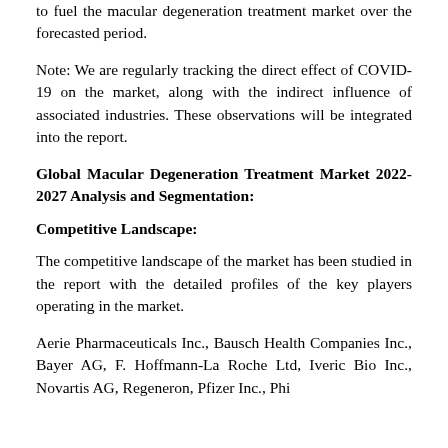to fuel the macular degeneration treatment market over the forecasted period.
Note: We are regularly tracking the direct effect of COVID-19 on the market, along with the indirect influence of associated industries. These observations will be integrated into the report.
Global Macular Degeneration Treatment Market 2022-2027 Analysis and Segmentation:
Competitive Landscape:
The competitive landscape of the market has been studied in the report with the detailed profiles of the key players operating in the market.
Aerie Pharmaceuticals Inc., Bausch Health Companies Inc., Bayer AG, F. Hoffmann-La Roche Ltd, Iveric Bio Inc., Novartis AG, Regeneron, Pfizer Inc., Phi